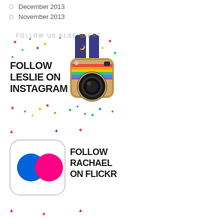December 2013
November 2013
FOLLOW US ELSEWHERE
[Figure (illustration): Follow Leslie on Instagram banner with illustrated Instagram camera icon and colorful confetti dots]
[Figure (illustration): Follow Rachael on Flickr banner with Flickr logo (blue and pink circles) and pink triangle confetti]